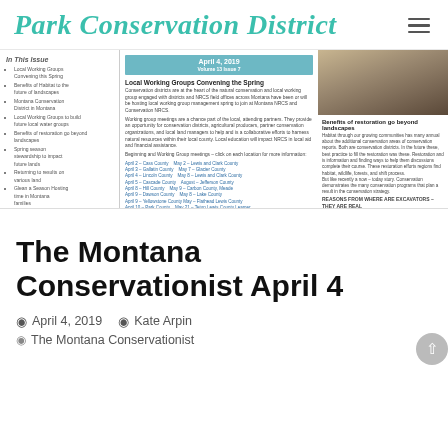Park Conservation District
[Figure (screenshot): Newsletter preview showing April 4, 2019 Volume 13 Issue 7 of The Montana Conservationist. Contains In This Issue sidebar, Local Working Groups Convening the Spring article, Benefits of restoration go beyond landscapes section, and a photo of construction equipment.]
The Montana Conservationist April 4
April 4, 2019   Kate Arpin
The Montana Conservationist